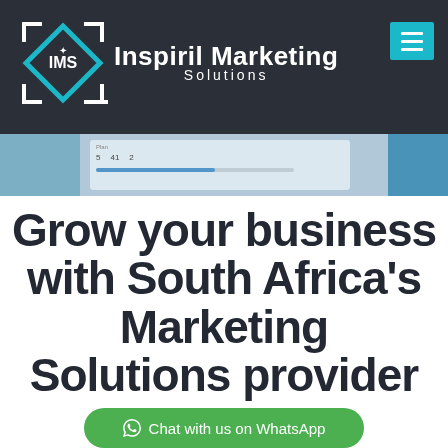[Figure (logo): Inspiril Marketing Solutions logo with IMS diamond icon and company name on dark background header]
[Figure (screenshot): Website hero banner showing a partial screenshot of a dashboard/analytics interface with blue tones]
Grow your business with South Africa's Marketing Solutions provider
Chat with us on WhatsApp